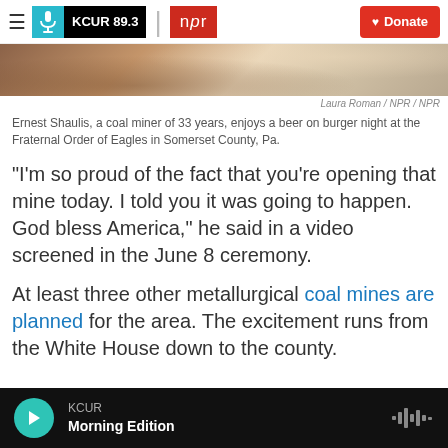KCUR 89.3 | npr | Donate
[Figure (photo): Partial view of a restaurant or bar scene, top portion of image showing blurred background with table items]
Laura Roman / NPR / NPR
Ernest Shaulis, a coal miner of 33 years, enjoys a beer on burger night at the Fraternal Order of Eagles in Somerset County, Pa.
"I'm so proud of the fact that you're opening that mine today. I told you it was going to happen. God bless America," he said in a video screened in the June 8 ceremony.
At least three other metallurgical coal mines are planned for the area. The excitement runs from the White House down to the county.
KCUR Morning Edition